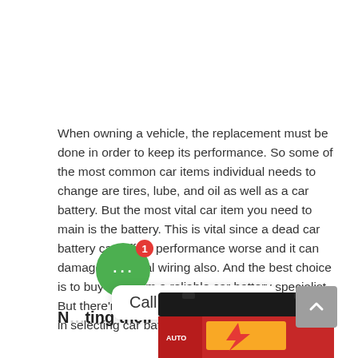When owning a vehicle, the replacement must be done in order to keep its performance. So some of the most common car items individual needs to change are tires, lube, and oil as well as a car battery. But the most vital car item you need to main is the battery. This is vital since a dead car battery can affect performance worse and it can damage electrical wiring also. And the best choice is to buy one from a reliable car battery specialist. But there're cases when individuals make mistakes in selecting car battery delivery.
N…ting their battery selections
[Figure (photo): Partial view of a car battery (black top, red label) visible at the bottom of the page, partially cut off]